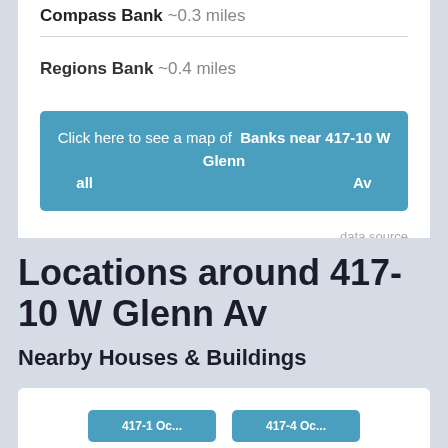Compass Bank ~0.3 miles
Regions Bank ~0.4 miles
Click here to see a map of all Banks near 417-10 W Glenn Av
data source
Locations around 417-10 W Glenn Av
Nearby Houses & Buildings